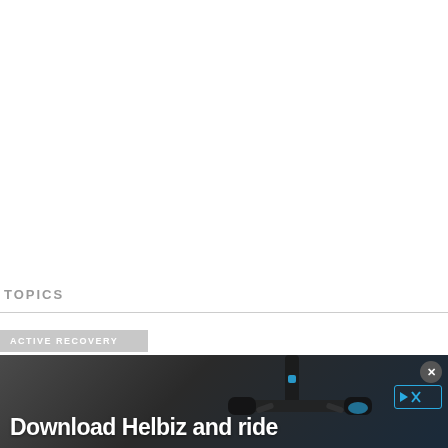TOPICS
ACTIVE RECOVERY
[Figure (photo): Advertisement banner showing a scooter handlebar detail with text 'Download Helbiz and ride' on a dark background, with a close button and Helbiz logo in the top right corner.]